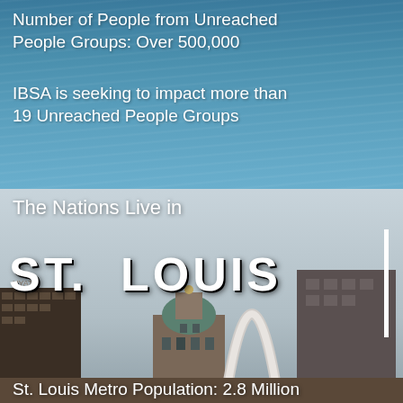Number of People from Unreached People Groups: Over 500,000
IBSA is seeking to impact more than 19 Unreached People Groups
The Nations Live in
ST. LOUIS
St. Louis Metro Population: 2.8 Million